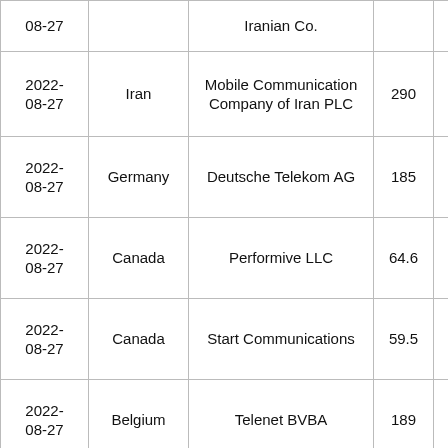| Date | Country | Company | Value |  |
| --- | --- | --- | --- | --- |
| 08-27 |  | Iranian Co. |  |  |
| 2022-08-27 | Iran | Mobile Communication Company of Iran PLC | 290 |  |
| 2022-08-27 | Germany | Deutsche Telekom AG | 185 |  |
| 2022-08-27 | Canada | Performive LLC | 64.6 |  |
| 2022-08-27 | Canada | Start Communications | 59.5 |  |
| 2022-08-27 | Belgium | Telenet BVBA | 189 |  |
| 2022-08-27 | Canada | Start Communications | 56.8 |  |